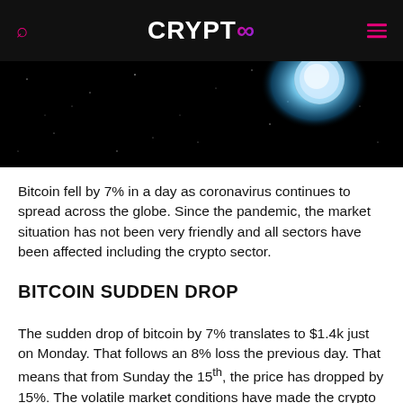CRYPT∞
[Figure (photo): Dark space background with a glowing blue and white coin/moon object in the upper right area against a starry black sky]
Bitcoin fell by 7% in a day as coronavirus continues to spread across the globe. Since the pandemic, the market situation has not been very friendly and all sectors have been affected including the crypto sector.
BITCOIN SUDDEN DROP
The sudden drop of bitcoin by 7% translates to $1.4k just on Monday. That follows an 8% loss the previous day. That means that from Sunday the 15th, the price has dropped by 15%. The volatile market conditions have made the crypto giant to trade at around $4550.